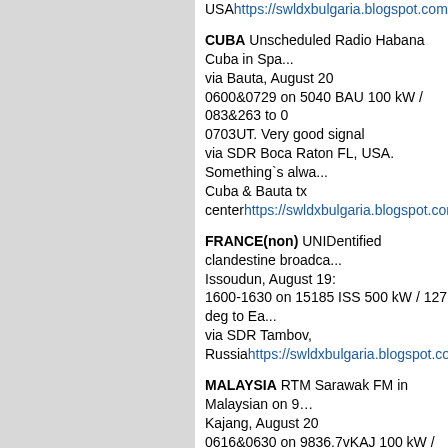USAhttps://swldxbulgaria.blogspot.com/2022/08...
CUBA Unscheduled Radio Habana Cuba in Spanish via Bauta, August 20
0600&0729 on 5040 BAU 100 kW / 083&263 to 0703UT. Very good signal via SDR Boca Raton FL, USA. Something`s always Cuba & Bauta tx centerhttps://swldxbulgaria.blogspot.com/2022/0...
FRANCE(non) UNIDentified clandestine broadcasts from Issoudun, August 19:
1600-1630 on 15185 ISS 500 kW / 127 deg to E... via SDR Tambov, Russiahttps://swldxbulgaria.blogspot.com/2022/0...
MALAYSIA RTM Sarawak FM in Malaysian on 9... Kajang, August 20
0616&0630 on 9836.7vKAJ 100 kW / 093 deg to... Phisal, Thailand
0618&0631 on 9835.0 KAJ 100 kW / 093 deg to... Phisal, Thailandhttps://swldxbulgaria.blogspot.c...
NUMBERS STATION Very good signal of Cuban... frequency 11462 kHz via Bejucal, August 20:
from 0603 on 11462 BEJ 050 kW / unknown to E... instead 14375 kHz via SDR Frostburg MD, USAhttps://swldxbulgaria.blogspot.com/2022/08...
U.K.(non) Reception of FEBA Radio in Site on 75... Yerevan, August 19
1730-1800 on 7510 ERV 300 kW / 192 deg to Ea... SDR Tambov, RUShttps://swldxbulgaria.blogspot.com...